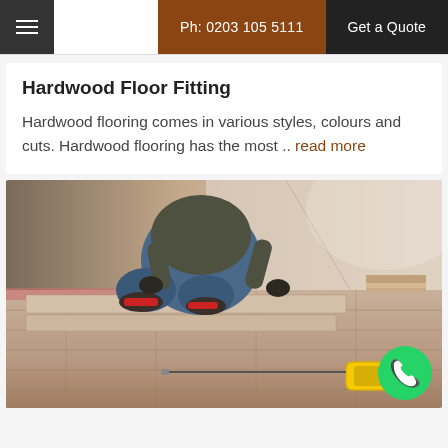Ph: 0203 105 5111 | Get a Quote
Hardwood Floor Fitting
Hardwood flooring comes in various styles, colours and cuts. Hardwood flooring has the most .. read more
[Figure (photo): A worker kneeling on the floor laying hardwood/laminate flooring planks, wearing red socks and work clothes, with a yellow tape measure visible on the floor in the foreground.]